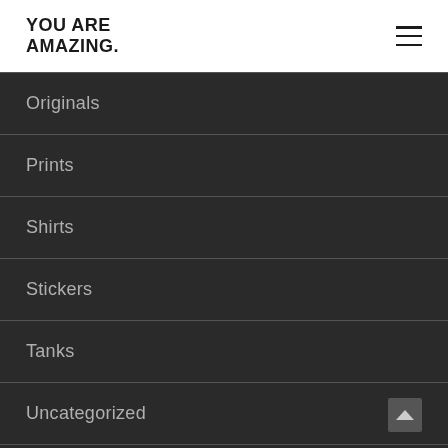YOU ARE AMAZING.
Originals
Prints
Shirts
Stickers
Tanks
Uncategorized